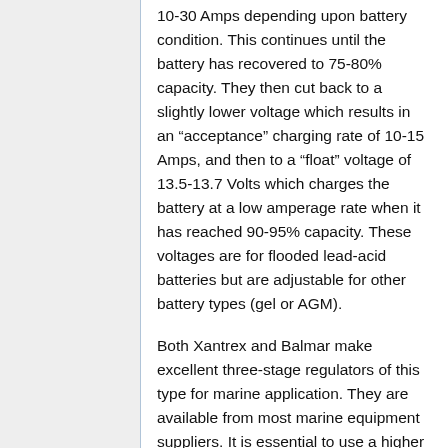10-30 Amps depending upon battery condition. This continues until the battery has recovered to 75-80% capacity. They then cut back to a slightly lower voltage which results in an “acceptance” charging rate of 10-15 Amps, and then to a “float” voltage of 13.5-13.7 Volts which charges the battery at a low amperage rate when it has reached 90-95% capacity. These voltages are for flooded lead-acid batteries but are adjustable for other battery types (gel or AGM).
Both Xantrex and Balmar make excellent three-stage regulators of this type for marine application. They are available from most marine equipment suppliers. It is essential to use a higher capacity alternator when using these three-stage regulators since there is no current limiting control in the system. Current is determined by the alternator.